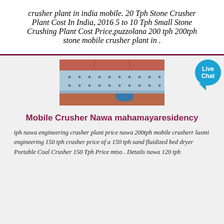crusher plant in india mobile. 20 Tph Stone Crusher Plant Cost In India, 2016 5 to 10 Tph Small Stone Crushing Plant Cost Price,puzzolana 200 tph 200tph stone mobile crusher plant in .
[Figure (photo): Close-up photo of a mobile crusher plant showing machinery with orange/red frame and blue/grey metal panels with bolt holes]
Mobile Crusher Nawa mahamayaresidency
tph nawa engineering crusher plant price nawa 200tph mobile crusherr laxmi engineering 150 tph crusher price of a 150 tph sand fluidized bed dryer Portable Coal Crusher 150 Tph Price mtso . Details nawa 120 tph